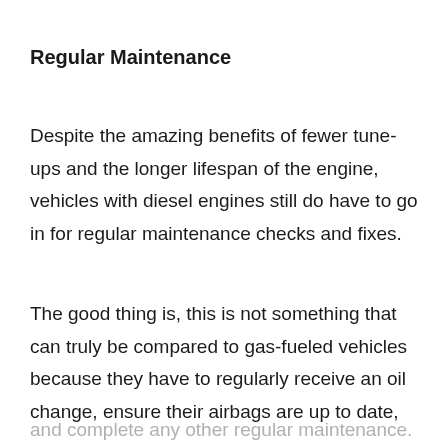Regular Maintenance
Despite the amazing benefits of fewer tune-ups and the longer lifespan of the engine, vehicles with diesel engines still do have to go in for regular maintenance checks and fixes.
The good thing is, this is not something that can truly be compared to gas-fueled vehicles because they have to regularly receive an oil change, ensure their airbags are up to date,
and complete any other regular maintenance.